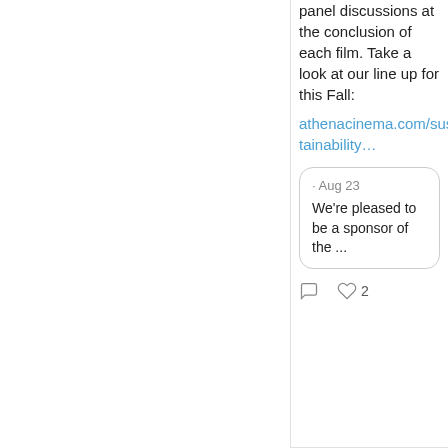panel discussions at the conclusion of each film. Take a look at our line up for this Fall:
athenacinema.com/sustainability…
· Aug 23
We're pleased to be a sponsor of the ...